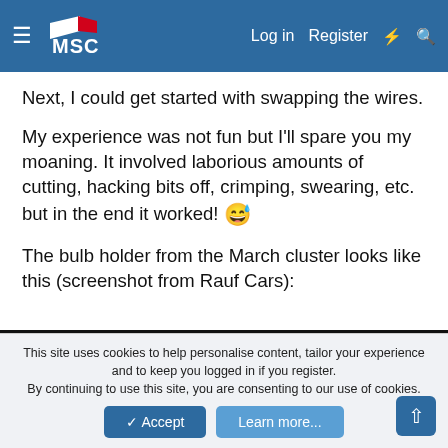MSC — Log in  Register
Next, I could get started with swapping the wires.
My experience was not fun but I'll spare you my moaning. It involved laborious amounts of cutting, hacking bits off, crimping, swearing, etc. but in the end it worked! 😅
The bulb holder from the March cluster looks like this (screenshot from Rauf Cars):
[Figure (photo): Close-up photo of a bulb holder from a March cluster, dark background with a glass bulb visible. Expand icon in top-right corner.]
This site uses cookies to help personalise content, tailor your experience and to keep you logged in if you register. By continuing to use this site, you are consenting to our use of cookies.